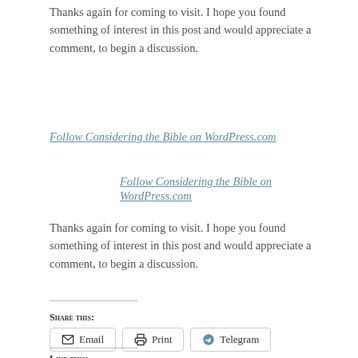Thanks again for coming to visit. I hope you found something of interest in this post and would appreciate a comment, to begin a discussion.
Follow Considering the Bible on WordPress.com
Follow Considering the Bible on WordPress.com
Thanks again for coming to visit. I hope you found something of interest in this post and would appreciate a comment, to begin a discussion.
Share this:
Email
Print
Telegram
Like this: